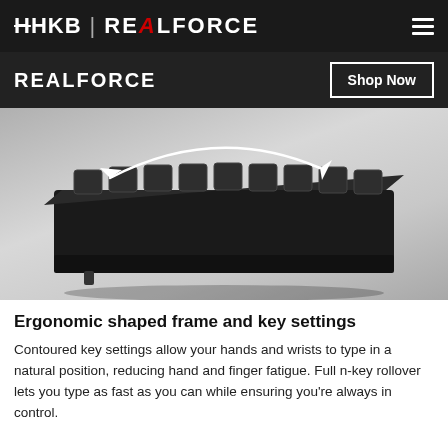HHKB | REALFORCE
REALFORCE
Shop Now
[Figure (photo): Side profile of a black Realforce keyboard viewed from the left, showing contoured key settings with an arc arrow indicating the ergonomic curve, on a grey gradient background.]
Ergonomic shaped frame and key settings
Contoured key settings allow your hands and wrists to type in a natural position, reducing hand and finger fatigue. Full n-key rollover lets you type as fast as you can while ensuring you're always in control.